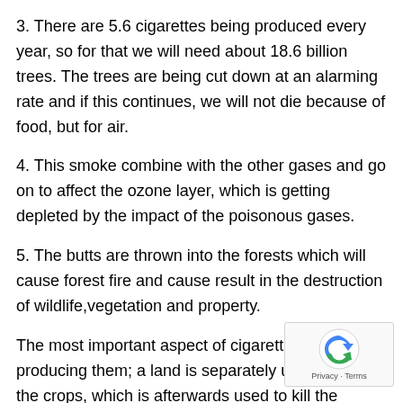3. There are 5.6 cigarettes being produced every year, so for that we will need about 18.6 billion trees. The trees are being cut down at an alarming rate and if this continues, we will not die because of food, but for air.
4. This smoke combine with the other gases and go on to affect the ozone layer, which is getting depleted by the impact of the poisonous gases.
5. The butts are thrown into the forests which will cause forest fire and cause result in the destruction of wildlife,vegetation and property.
The most important aspect of cigarettes is actually producing them; a land is separately used to grow the crops, which is afterwards used to kill the human and the environment. This land can be used to grow trees and crops which would be useful in the future rather than destructive in future. These lands can be used to grow food crops for the children who are starving for food in the under developed countries. These crops are grown